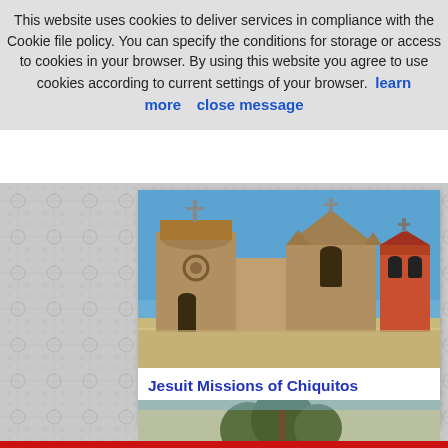This website uses cookies to deliver services in compliance with the Cookie file policy. You can specify the conditions for storage or access to cookies in your browser. By using this website you agree to use cookies according to current settings of your browser. learn more   close message
[Figure (photo): Photo of Jesuit Missions of Chiquitos in Eastern Bolivia showing colonial stone church facade with bell tower against blue sky]
Jesuit Missions of Chiquitos (Eastern Bolivia)
[Figure (photo): Partial view of another location photo, partially visible at bottom of page]